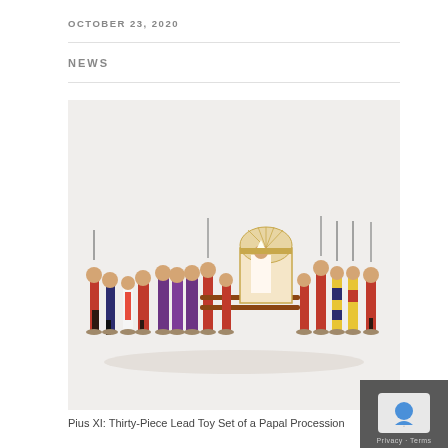OCTOBER 23, 2020
NEWS
[Figure (photo): Photograph of a thirty-piece lead toy set depicting a Papal Procession. Multiple painted figurines in red, purple, white, and gold robes, including guards with spears and a central papal chair/sedan carried by attendants, against a white background.]
Pius XI: Thirty-Piece Lead Toy Set of a Papal Procession